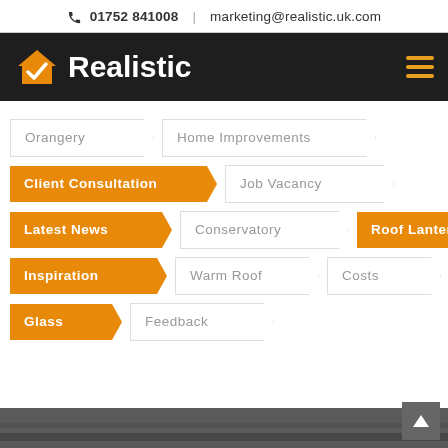01752 841008 | marketing@realistic.uk.com
[Figure (logo): Realistic company logo with orange house+checkmark icon and white bold text 'Realistic' on dark background, with orange hamburger menu icon on right]
Orangery
Home Improvements
Client Consultation
Job Vacancy
Latest News
Conservatory
Roof Lantern
Inspiration
Warm Roof
Costs
Glass
Feedback
[Figure (photo): Dark grey roofing/sky photo strip at bottom of page]